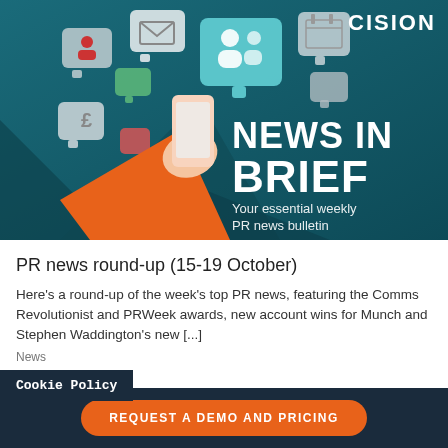[Figure (illustration): Cision 'News in Brief' banner. Dark teal background with illustrated speech bubbles containing social media and communication icons (envelope, people, currency, calendar). A hand holding a smartphone is shown. Large white bold text reads 'NEWS IN BRIEF' with subtitle 'Your essential weekly PR news bulletin'. Cision logo in top right.]
PR news round-up (15-19 October)
Here's a round-up of the week's top PR news, featuring the Comms Revolutionist and PRWeek awards, new account wins for Munch and Stephen Waddington's new [...]
News
Cookie Policy
REQUEST A DEMO AND PRICING